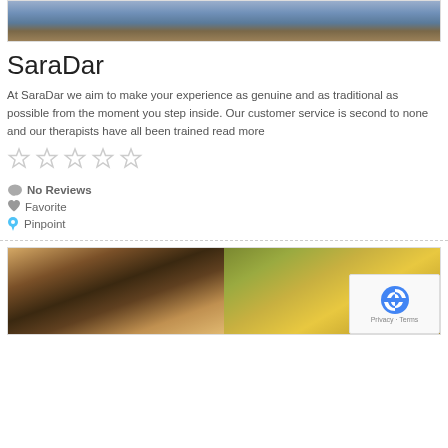[Figure (photo): Top portion of a room/spa image with blue carpet and wicker furniture]
SaraDar
At SaraDar we aim to make your experience as genuine and as traditional as possible from the moment you step inside. Our customer service is second to none and our therapists have all been trained read more
[Figure (infographic): Five empty star rating icons]
No Reviews
Favorite
Pinpoint
[Figure (photo): Bottom card showing two spa room images side by side]